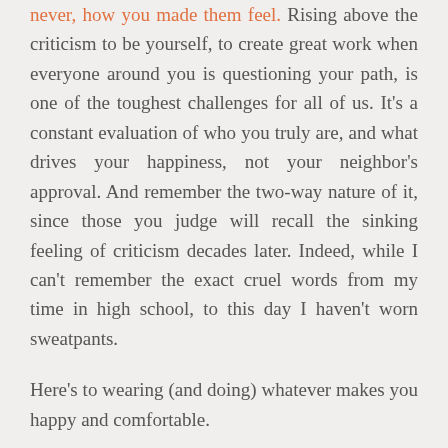never, how you made them feel. Rising above the criticism to be yourself, to create great work when everyone around you is questioning your path, is one of the toughest challenges for all of us. It's a constant evaluation of who you truly are, and what drives your happiness, not your neighbor's approval. And remember the two-way nature of it, since those you judge will recall the sinking feeling of criticism decades later. Indeed, while I can't remember the exact cruel words from my time in high school, to this day I haven't worn sweatpants.
Here's to wearing (and doing) whatever makes you happy and comfortable.